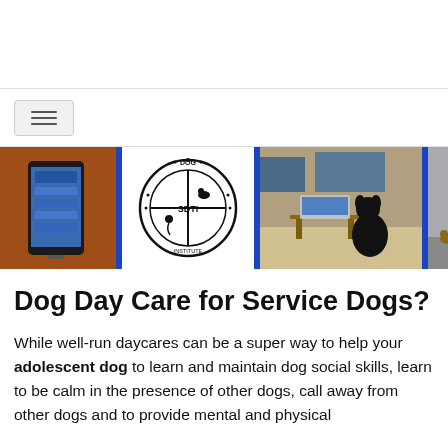[Figure (screenshot): Website navigation header with hamburger menu button and horizontal rule dividers]
[Figure (photo): Banner strip showing: phone with website, SDTI service dog training institute logo, black dog looking at laptop, people with dogs on street — separated by blue vertical bars]
Dog Day Care for Service Dogs?
While well-run daycares can be a super way to help your adolescent dog to learn and maintain dog social skills, learn to be calm in the presence of other dogs, call away from other dogs and to provide mental and physical